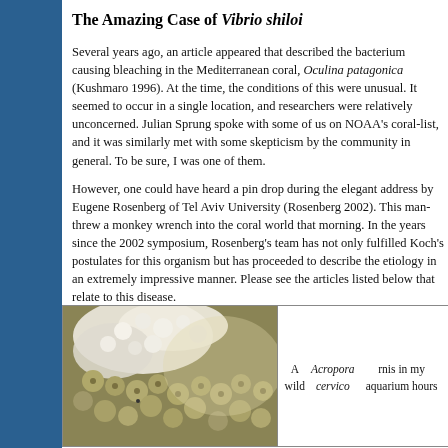The Amazing Case of Vibrio shiloi
Several years ago, an article appeared that described the bacterium causing bleaching in the Mediterranean coral, Oculina patagonica (Kushmaro 1996). At the time, the conditions of this were unusual. It seemed to occur in a single location, and researchers were relatively unconcerned. Julian Sprung spoke with some of us on NOAA's coral-list, and it was similarly met with some skepticism by the community in general. To be sure, I was one of them.
However, one could have heard a pin drop during the elegant address by Eugene Rosenberg of Tel Aviv University (Rosenberg 2002). This man threw a monkey wrench into the coral world that morning. In the years since the 2002 symposium, Rosenberg's team has not only fulfilled Koch's postulates for this organism but has proceeded to describe the etiology in an extremely impressive manner. Please see the articles listed below that relate to this disease.
[Figure (photo): Close-up photograph of a coral, showing white bleached areas and yellowish-brown polyps, likely Acropora cervicornis]
A wild Acropora cervicornis in my aquarium hours